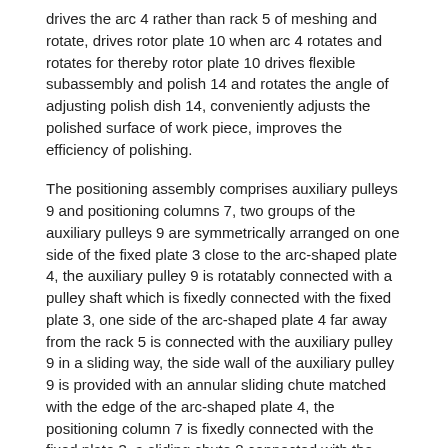drives the arc 4 rather than rack 5 of meshing and rotate, drives rotor plate 10 when arc 4 rotates and rotates for thereby rotor plate 10 drives flexible subassembly and polish 14 and rotates the angle of adjusting polish dish 14, conveniently adjusts the polished surface of work piece, improves the efficiency of polishing.
The positioning assembly comprises auxiliary pulleys 9 and positioning columns 7, two groups of the auxiliary pulleys 9 are symmetrically arranged on one side of the fixed plate 3 close to the arc-shaped plate 4, the auxiliary pulley 9 is rotatably connected with a pulley shaft which is fixedly connected with the fixed plate 3, one side of the arc-shaped plate 4 far away from the rack 5 is connected with the auxiliary pulley 9 in a sliding way, the side wall of the auxiliary pulley 9 is provided with an annular sliding chute matched with the edge of the arc-shaped plate 4, the positioning column 7 is fixedly connected with the fixed plate 3, a sliding chute 8 connected with the positioning column 7 in a sliding way is arranged in the arc-shaped plate 4, when in actual use, the arc-shaped plate 4 rotates, the inner cambered surface of the arc-shaped plate 4 slides on the auxiliary pulley 9, simultaneously 8 inner